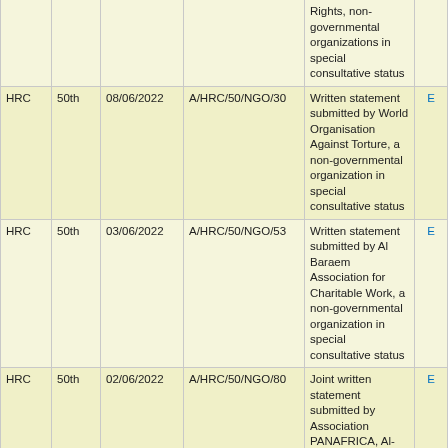| Body | Session | Date | Symbol | Title/Description | Lang |
| --- | --- | --- | --- | --- | --- |
|  |  |  |  | Rights, non-governmental organizations in special consultative status |  |
| HRC | 50th | 08/06/2022 | A/HRC/50/NGO/30 | Written statement submitted by World Organisation Against Torture, a non-governmental organization in special consultative status | E |
| HRC | 50th | 03/06/2022 | A/HRC/50/NGO/53 | Written statement submitted by Al Baraem Association for Charitable Work, a non-governmental organization in special consultative status | E |
| HRC | 50th | 02/06/2022 | A/HRC/50/NGO/80 | Joint written statement submitted by Association PANAFRICA, Al-Hakim Foundation, Centre du Commerce International pour le Développement., Organisation pour la Communication en Afrique et de Promotion de la Cooperation Economique Internationale - OCAPROCE Internationale, non-governmental organizations in special consultative status | E |
|  |  |  |  | Written statement |  |